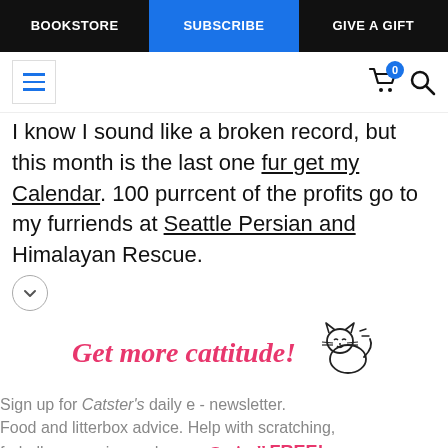BOOKSTORE | SUBSCRIBE | GIVE A GIFT
I know I sound like a broken record, but this month is the last one fur get my Calendar. 100 purrcent of the profits go to my furriends at Seattle Persian and Himalayan Rescue.
[Figure (illustration): Cartoon cat drawing with motion lines, simple line art style]
Get more cattitude!
Sign up for Catster's daily e - newsletter. Food and litterbox advice. Help with scratching, furballs, grooming and more. Get it all FREE!
Enter your Email
YES! SIGN ME UP